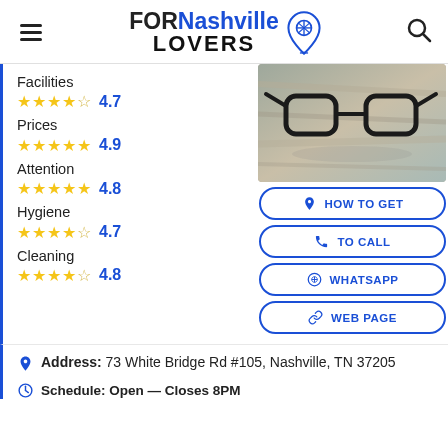FORNashville LOVERS
Facilities ★★★★☆ 4.7
Prices ★★★★★ 4.9
Attention ★★★★★ 4.8
Hygiene ★★★★☆ 4.7
Cleaning ★★★★☆ 4.8
[Figure (photo): Black-rimmed eyeglasses resting on a wooden surface]
HOW TO GET
TO CALL
WHATSAPP
WEB PAGE
Address: 73 White Bridge Rd #105, Nashville, TN 37205
Schedule: Open — Closes 8PM